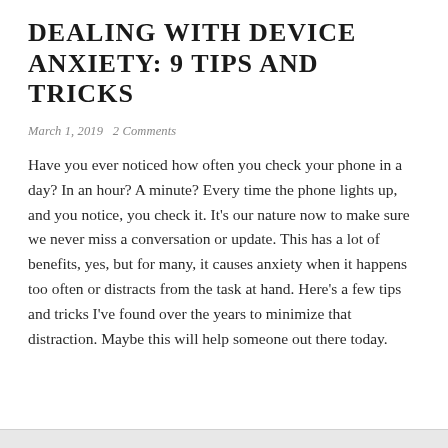DEALING WITH DEVICE ANXIETY: 9 TIPS AND TRICKS
March 1, 2019   2 Comments
Have you ever noticed how often you check your phone in a day? In an hour? A minute? Every time the phone lights up, and you notice, you check it. It's our nature now to make sure we never miss a conversation or update. This has a lot of benefits, yes, but for many, it causes anxiety when it happens too often or distracts from the task at hand. Here's a few tips and tricks I've found over the years to minimize that distraction. Maybe this will help someone out there today.